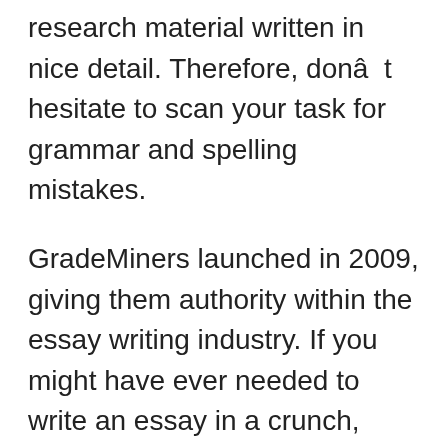research material written in nice detail. Therefore, donât hesitate to scan your task for grammar and spelling mistakes.
GradeMiners launched in 2009, giving them authority within the essay writing industry. If you might have ever needed to write an essay in a crunch, then youâll agree that typically you simply want slightly help. You did the reports I requested sooner than I anticipated and stored in touch with me all the way. It’s good to have the power to talk with the author and the grades I obtained proved that you actually are profess… Like we mentioned earlier, we don’t tolerate